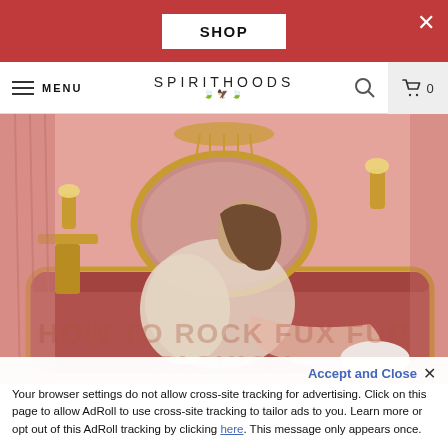SHOP
SPIRITHOODS — MENU — Search — Cart 0
[Figure (photo): Fashion photo: woman in white faux fur coat and fishnet tights reclining on an ornate gold and red velvet sofa in a pink opulent room with chandeliers and mirrors]
Accept and Close ✕
Your browser settings do not allow cross-site tracking for advertising. Click on this page to allow AdRoll to use cross-site tracking to tailor ads to you. Learn more or opt out of this AdRoll tracking by clicking here. This message only appears once.
HOW TO ROCK FUX FUR FASHION